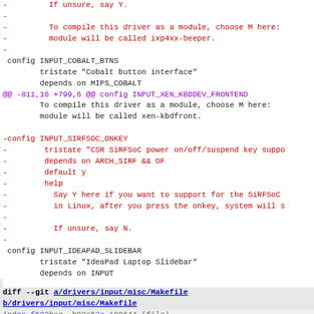diff --git code view showing kernel input driver changes
[Figure (screenshot): Git diff output showing removal of INPUT_SIRFSOC_ONKEY config and context around INPUT_COBALT_BTNS and INPUT_IDEAPAD_SLIDEBAR, with a new diff header for drivers/input/misc/Makefile]